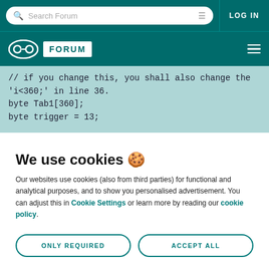Search Forum | LOG IN
Arduino FORUM
// if you change this, you shall also change the  'i<360;' in line 36.
byte Tab1[360];
byte trigger = 13;
We use cookies 🍪
Our websites use cookies (also from third parties) for functional and analytical purposes, and to show you personalised advertisement. You can adjust this in Cookie Settings or learn more by reading our cookie policy.
ONLY REQUIRED
ACCEPT ALL